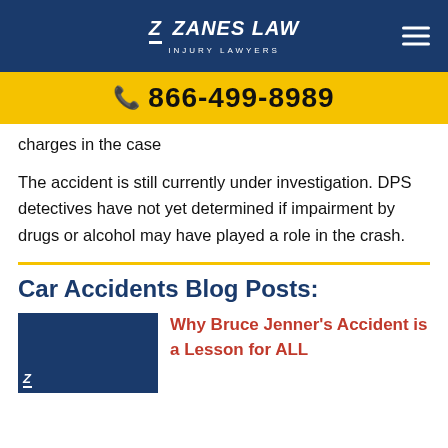Zanes Law Injury Lawyers | 866-499-8989
charges in the case
The accident is still currently under investigation.  DPS detectives have not yet determined if impairment by drugs or alcohol may have played a role in the crash.
Car Accidents Blog Posts:
Why Bruce Jenner's Accident is a Lesson for ALL